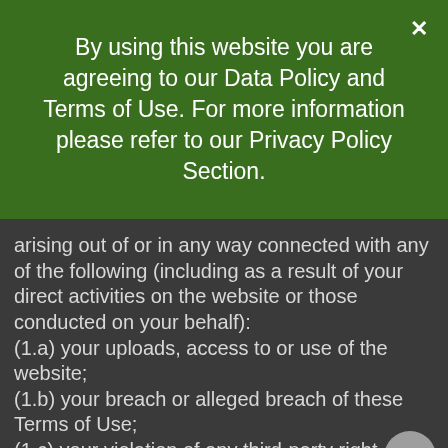By using this website you are agreeing to our Data Policy and Terms of Use. For more information please refer to our Privacy Policy Section.
arising out of or in any way connected with any of the following (including as a result of your direct activities on the website or those conducted on your behalf):
(1.a) your uploads, access to or use of the website;
(1.b) your breach or alleged breach of these Terms of Use;
(1.c) your violation of any third-party right, including, without limitation, any intellectual property right, publicity, confidentiality, property or privacy right;
(1.d) your violation of any laws, rules, regulations, codes,